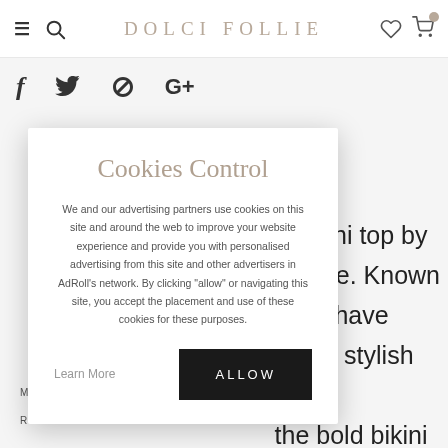DOLCI FOLLIE
[Figure (screenshot): Social media sharing icons: Facebook (f), Twitter bird, Pinterest (P), Google+ (G+)]
Cookies Control
We and our advertising partners use cookies on this site and around the web to improve your website experience and provide you with personalised advertising from this site and other advertisers in AdRoll's network. By clicking "allow" or navigating this site, you accept the placement and use of these cookies for these purposes.
Learn More   ALLOW
d bikini top by ordelle. Known delle have oh-so stylish old the bold bikini
MORE INFORMATION
REVIEWS